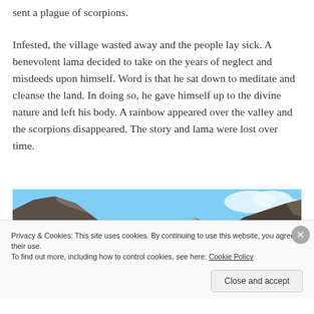sent a plague of scorpions.
Infested, the village wasted away and the people lay sick. A benevolent lama decided to take on the years of neglect and misdeeds upon himself. Word is that he sat down to meditate and cleanse the land. In doing so, he gave himself up to the divine nature and left his body. A rainbow appeared over the valley and the scorpions disappeared. The story and lama were lost over time.
[Figure (photo): Photograph of a mountain valley with rocky slopes under a blue sky with clouds]
Privacy & Cookies: This site uses cookies. By continuing to use this website, you agree to their use.
To find out more, including how to control cookies, see here: Cookie Policy
Close and accept